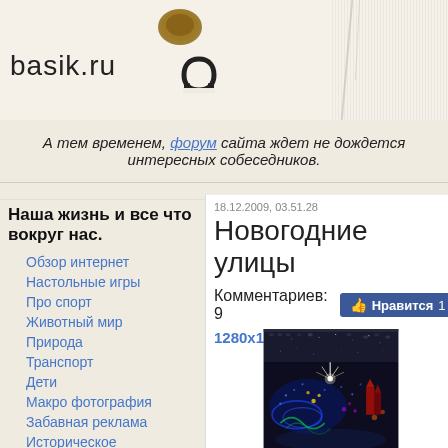basik.ru
А тем временем, форум сайта ждет не дождется интересных собеседников.
Наша жизнь и все что вокруг нас.
Обзор интернет
Настольные игры
Про спорт
Животный мир
Природа
Транспорт
Дети
Макро фотография
Забавная реклама
Историческое
18.12.2009, 03.51.28
Новогодние улицы
Комментариев: 9   Нравится 1
1280x1024
[Figure (photo): Night photo of New Year street decorations with colorful lights forming festive scenes including buildings and fireworks on dark background]